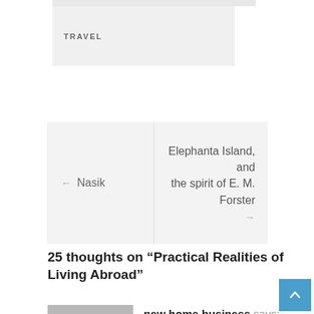TRAVEL
← Nasik    Elephanta Island, and the spirit of E. M. Forster →
25 thoughts on "Practical Realities of Living Abroad"
new home business says:
AT 1:03 PM
You know a lot of people don't serious